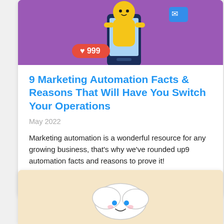[Figure (illustration): Purple background hero image showing a cartoon character with yellow clothes using a smartphone, with a heart badge showing 999 likes and an email icon]
9 Marketing Automation Facts & Reasons That Will Have You Switch Your Operations
May 2022
Marketing automation is a wonderful resource for any growing business, that's why we've rounded up9 automation facts and reasons to prove it!
APP TIPS
[Figure (illustration): Beige/tan background with a cartoon cloud character with a face at the bottom of the page]